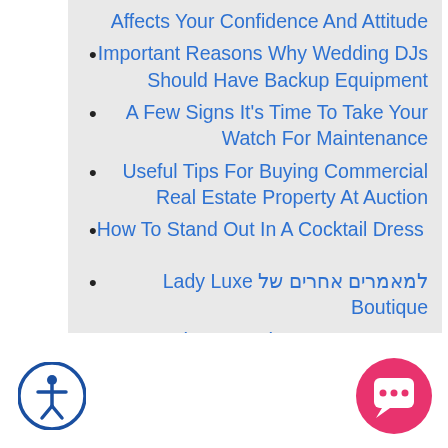Affects Your Confidence And Attitude
Important Reasons Why Wedding DJs Should Have Backup Equipment
A Few Signs It's Time To Take Your Watch For Maintenance
Useful Tips For Buying Commercial Real Estate Property At Auction
How To Stand Out In A Cocktail Dress
למאמרים אחרים של Lady Luxe Boutique
לצפייה בכל המאמרים
[Figure (illustration): Accessibility icon - circular blue icon with human figure inside]
[Figure (illustration): Chat/support icon - circular pink/red button with speech bubble face]